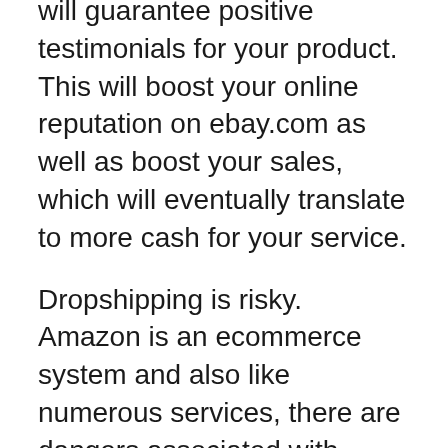will guarantee positive testimonials for your product. This will boost your online reputation on ebay.com as well as boost your sales, which will eventually translate to more cash for your service.
Dropshipping is risky. Amazon is an ecommerce system and also like numerous services, there are dangers associated with operating this platform. It is simple to get your account banned from selling on Amazon if the business finds that you are selling phony product. If you run a dropshipping company utilizing Amazon as your system, it is essential that you recognize the standards and also follow them very closely. Make sure to ask your dropshipper regarding these threats and do not be reluctant to contact